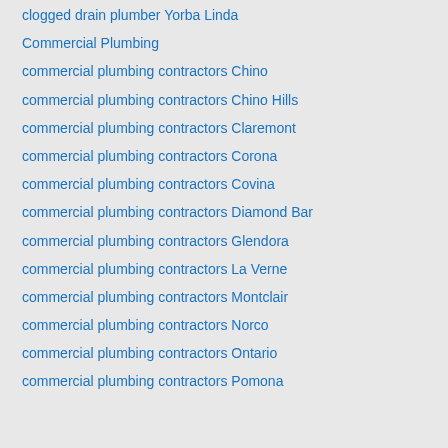clogged drain plumber Yorba Linda
Commercial Plumbing
commercial plumbing contractors Chino
commercial plumbing contractors Chino Hills
commercial plumbing contractors Claremont
commercial plumbing contractors Corona
commercial plumbing contractors Covina
commercial plumbing contractors Diamond Bar
commercial plumbing contractors Glendora
commercial plumbing contractors La Verne
commercial plumbing contractors Montclair
commercial plumbing contractors Norco
commercial plumbing contractors Ontario
commercial plumbing contractors Pomona